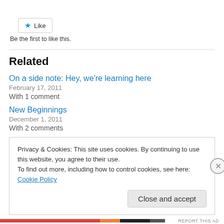[Figure (other): Like button with star icon]
Be the first to like this.
Related
On a side note: Hey, we're learning here
February 17, 2011
With 1 comment
New Beginnings
December 1, 2011
With 2 comments
Privacy & Cookies: This site uses cookies. By continuing to use this website, you agree to their use.
To find out more, including how to control cookies, see here: Cookie Policy
Close and accept